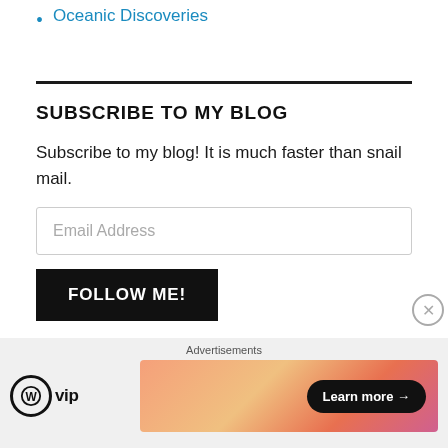Oceanic Discoveries
SUBSCRIBE TO MY BLOG
Subscribe to my blog! It is much faster than snail mail.
[Figure (other): Email Address input field]
[Figure (other): FOLLOW ME! button, black background with white uppercase text]
[Figure (other): Advertisements bar at bottom with WordPress VIP logo on the left and a colorful gradient banner ad with 'Learn more' button on the right, and a close (X) button]